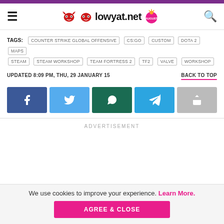lowyat.net
TAGS: COUNTER STRIKE GLOBAL OFFENSIVE  CS:GO  CUSTOM  DOTA 2  MAPS  STEAM  STEAM WORKSHOP  TEAM FORTRESS 2  TF2  VALVE  WORKSHOP
UPDATED 8:09 PM, THU, 29 JANUARY 15
BACK TO TOP
[Figure (other): Social share buttons: Facebook, Twitter, WhatsApp, Telegram, Share]
ADVERTISEMENT
We use cookies to improve your experience. Learn More.
AGREE & CLOSE